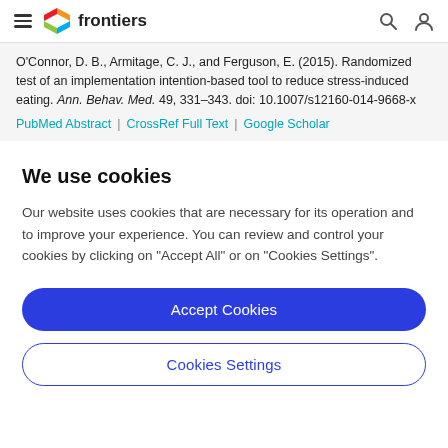frontiers
O'Connor, D. B., Armitage, C. J., and Ferguson, E. (2015). Randomized test of an implementation intention-based tool to reduce stress-induced eating. Ann. Behav. Med. 49, 331–343. doi: 10.1007/s12160-014-9668-x
PubMed Abstract | CrossRef Full Text | Google Scholar
We use cookies
Our website uses cookies that are necessary for its operation and to improve your experience. You can review and control your cookies by clicking on "Accept All" or on "Cookies Settings".
Accept Cookies
Cookies Settings